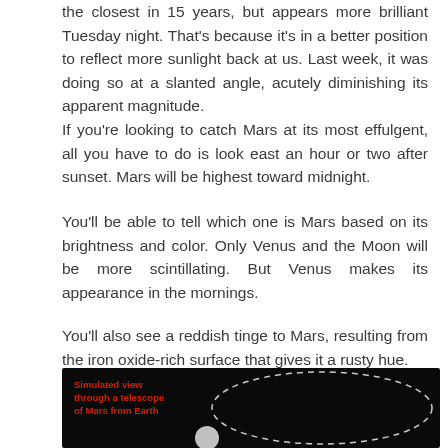the closest in 15 years, but appears more brilliant Tuesday night. That's because it's in a better position to reflect more sunlight back at us. Last week, it was doing so at a slanted angle, acutely diminishing its apparent magnitude.
If you're looking to catch Mars at its most effulgent, all you have to do is look east an hour or two after sunset. Mars will be highest toward midnight.
You'll be able to tell which one is Mars based on its brightness and color. Only Venus and the Moon will be more scintillating. But Venus makes its appearance in the mornings.
You'll also see a reddish tinge to Mars, resulting from the iron oxide-rich surface that gives it a rusty hue.
What is opposition, and how often does it occur?
[Figure (photo): Dark telescope simulation image showing a dashed elliptical orbit path of Mars, with a small circular object visible at the bottom. Red text overlay reads 'Simulated view through a telescope of Mars from Earth'.]